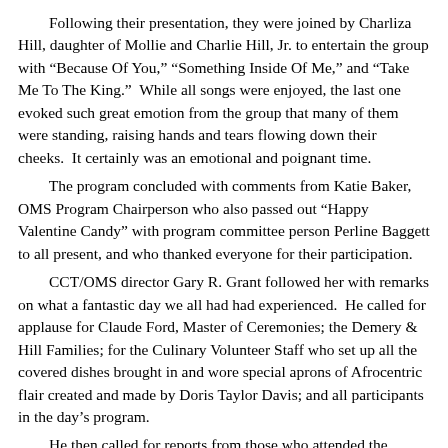Following their presentation, they were joined by Charliza Hill, daughter of Mollie and Charlie Hill, Jr. to entertain the group with “Because Of You,” “Something Inside Of Me,” and “Take Me To The King.”  While all songs were enjoyed, the last one evoked such great emotion from the group that many of them were standing, raising hands and tears flowing down their cheeks.  It certainly was an emotional and poignant time.
The program concluded with comments from Katie Baker, OMS Program Chairperson who also passed out “Happy Valentine Candy” with program committee person Perline Baggett to all present, and who thanked everyone for their participation.
CCT/OMS director Gary R. Grant followed her with remarks on what a fantastic day we all had had experienced.  He called for applause for Claude Ford, Master of Ceremonies; the Demery & Hill Families; for the Culinary Volunteer Staff who set up all the covered dishes brought in and wore special aprons of Afrocentric flair created and made by Doris Taylor Davis; and all participants in the day’s program.
He then called for reports from those who attended the “Crying From the Streets” dramatic presentation at the Evangelistic Church of